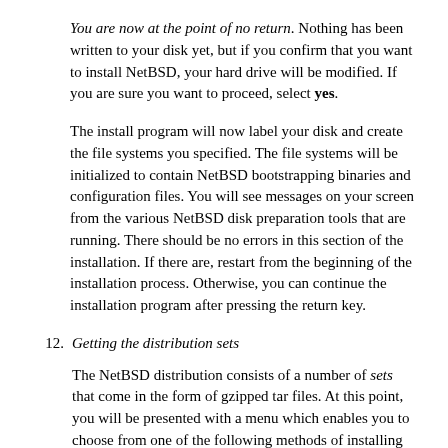You are now at the point of no return. Nothing has been written to your disk yet, but if you confirm that you want to install NetBSD, your hard drive will be modified. If you are sure you want to proceed, select yes.
The install program will now label your disk and create the file systems you specified. The file systems will be initialized to contain NetBSD bootstrapping binaries and configuration files. You will see messages on your screen from the various NetBSD disk preparation tools that are running. There should be no errors in this section of the installation. If there are, restart from the beginning of the installation process. Otherwise, you can continue the installation program after pressing the return key.
12. Getting the distribution sets
The NetBSD distribution consists of a number of sets that come in the form of gzipped tar files. At this point, you will be presented with a menu which enables you to choose from one of the following methods of installing the sets. Some of these methods will first transfer the sets to your hard disk, others will extract the sets directly.
For all these methods, the first step is to make the sets